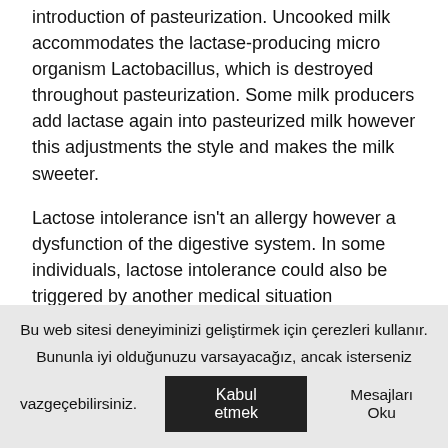introduction of pasteurization. Uncooked milk accommodates the lactase-producing micro organism Lactobacillus, which is destroyed throughout pasteurization. Some milk producers add lactase again into pasteurized milk however this adjustments the style and makes the milk sweeter.
Lactose intolerance isn't an allergy however a dysfunction of the digestive system. In some individuals, lactose intolerance could also be triggered by another medical situation equivalent to Crohn's illness. In others, it develops and not using a particular underlying trigger.
Irritation
There was appreciable analysis performed to judge persistent
Bu web sitesi deneyiminizi geliştirmek için çerezleri kullanır. Bununla iyi olduğunuzu varsayacağız, ancak isterseniz vazgeçebilirsiniz. Kabul etmek  Mesajları Oku